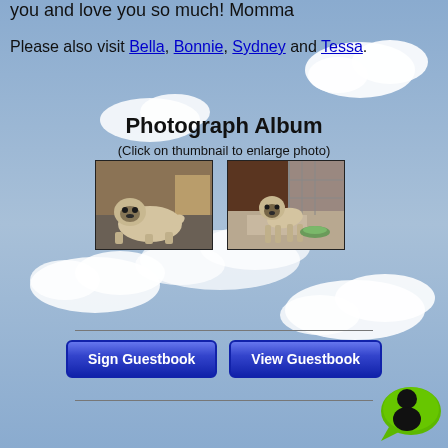you and love you so much! Momma
Please also visit Bella, Bonnie, Sydney and Tessa.
Photograph Album
(Click on thumbnail to enlarge photo)
[Figure (photo): Two thumbnail photos of a pug dog side by side]
[Figure (illustration): Sign Guestbook and View Guestbook buttons]
[Figure (logo): Chat/comment icon in bottom right corner]